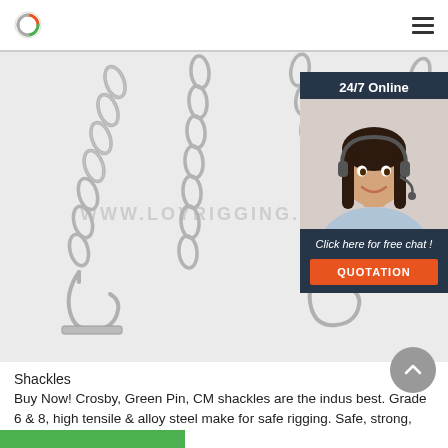Logo and navigation menu
[Figure (photo): Steel chains with hooks on a white/light grey background, multiple chains hanging down with hook ends visible. Faint watermark text visible across the middle of the image.]
24/7 Online
[Figure (photo): Customer service representative woman smiling, wearing a headset, shown in the 24/7 online chat widget overlay.]
Click here for free chat !
QUOTATION
Shackles
Buy Now! Crosby, Green Pin, CM shackles are the indus best. Grade 6 & 8, high tensile & alloy steel make for safe rigging. Safe, strong, US & EU made.